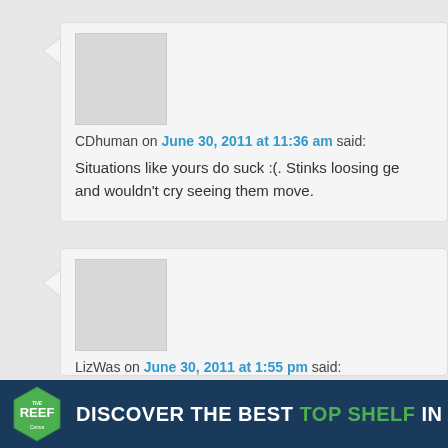CDhuman on June 30, 2011 at 11:36 am said:
Situations like yours do suck :(. Stinks loosing go and wouldn't cry seeing them move.
LizWas on June 30, 2011 at 1:55 pm said:
@olive oyl – An African American gentleman wa him he'd helped with the remodel of our house i of the shrubs my husband was weeding around.
[Figure (logo): The Reef Cannabis logo — green hexagon badge with white text REEF Canna]